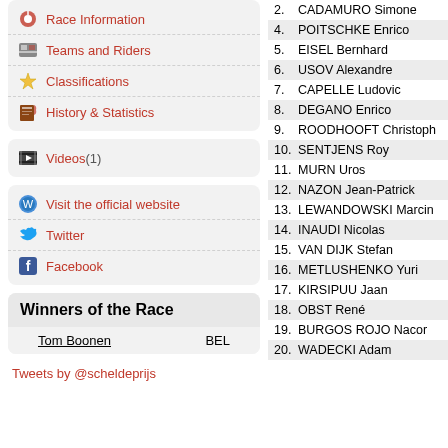Race Information
Teams and Riders
Classifications
History & Statistics
Videos (1)
Visit the official website
Twitter
Facebook
Winners of the Race
Tom Boonen   BEL
Tweets by @scheldeprijs
| # | Rider |
| --- | --- |
| 2. | CADAMURO Simone |
| 4. | POITSCHKE Enrico |
| 5. | EISEL Bernhard |
| 6. | USOV Alexandre |
| 7. | CAPELLE Ludovic |
| 8. | DEGANO Enrico |
| 9. | ROODHOOFT Christoph |
| 10. | SENTJENS Roy |
| 11. | MURN Uros |
| 12. | NAZON Jean-Patrick |
| 13. | LEWANDOWSKI Marcin |
| 14. | INAUDI Nicolas |
| 15. | VAN DIJK Stefan |
| 16. | METLUSHENKO Yuri |
| 17. | KIRSIPUU Jaan |
| 18. | OBST René |
| 19. | BURGOS ROJO Nacor |
| 20. | WADECKI Adam |